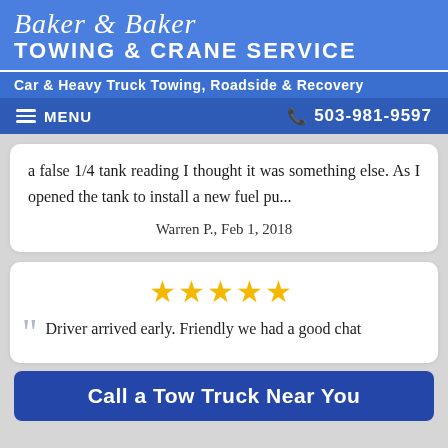Baker & Baker Towing & Crane Service
Car & Heavy Truck Towing, Roadside & Recovery
MENU   503-981-9597
a false 1/4 tank reading I thought it was something else. As I opened the tank to install a new fuel pu...
Warren P., Feb 1, 2018
[Figure (other): Five gold star rating]
Driver arrived early. Friendly we had a good chat
Call a Tow Truck Near You